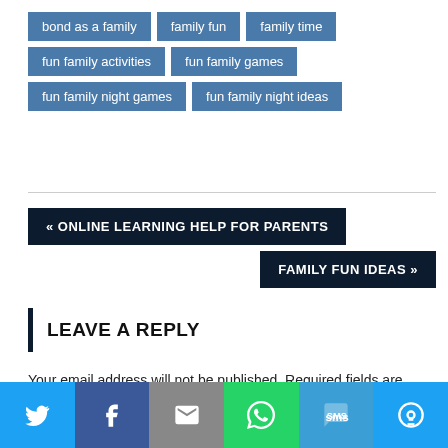bond as a family
family fun
family time
fun family activities
fun family games
fun family night games
fun family night ideas
« ONLINE LEARNING HELP FOR PARENTS
FAMILY FUN IDEAS »
LEAVE A REPLY
Your email address will not be published. Required fields are marked *
[Figure (infographic): Social sharing bar with icons for Twitter, Facebook, Email, WhatsApp, SMS, and More]